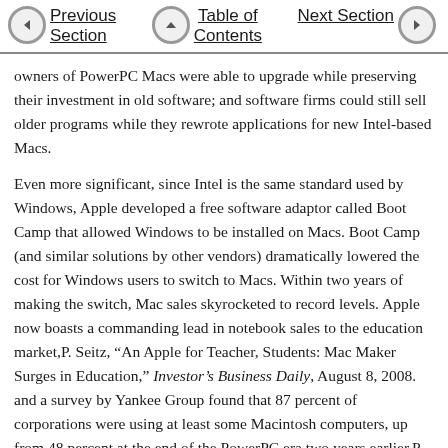Previous Section | Table of Contents | Next Section
owners of PowerPC Macs were able to upgrade while preserving their investment in old software; and software firms could still sell older programs while they rewrote applications for new Intel-based Macs.
Even more significant, since Intel is the same standard used by Windows, Apple developed a free software adaptor called Boot Camp that allowed Windows to be installed on Macs. Boot Camp (and similar solutions by other vendors) dramatically lowered the cost for Windows users to switch to Macs. Within two years of making the switch, Mac sales skyrocketed to record levels. Apple now boasts a commanding lead in notebook sales to the education market,P. Seitz, “An Apple for Teacher, Students: Mac Maker Surges in Education,” Investor’s Business Daily, August 8, 2008. and a survey by Yankee Group found that 87 percent of corporations were using at least some Macintosh computers, up from 48 percent at the end of the PowerPC era two years earlier.P. Burrows, “The Mac in the Gray Flannel